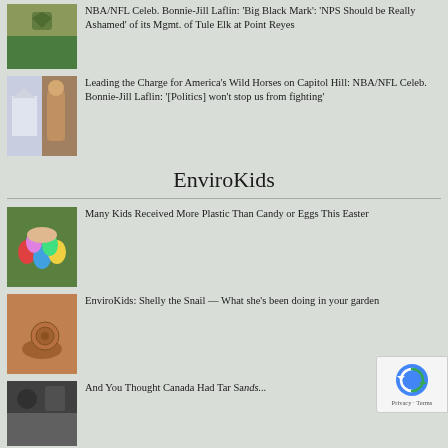NBA/NFL Celeb. Bonnie-Jill Laflin: 'Big Black Mark': 'NPS Should be Really Ashamed' of its Mgmt. of Tule Elk at Point Reyes
Leading the Charge for America's Wild Horses on Capitol Hill: NBA/NFL Celeb. Bonnie-Jill Laflin: '[Politics] won't stop us from fighting'
EnviroKids
Many Kids Received More Plastic Than Candy or Eggs This Easter
EnviroKids: Shelly the Snail — What she's been doing in your garden
And You Thought Canada Had Tar Sands...